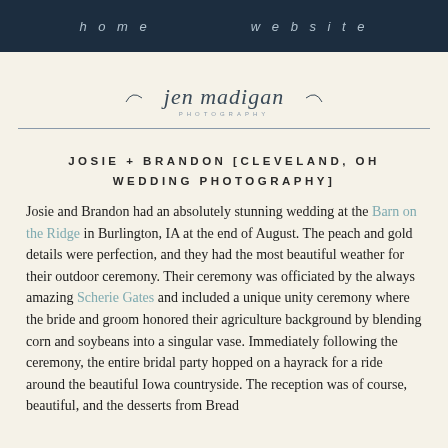home   website
[Figure (logo): jen madigan photography logo with decorative swash]
JOSIE + BRANDON [CLEVELAND, OH WEDDING PHOTOGRAPHY]
Josie and Brandon had an absolutely stunning wedding at the Barn on the Ridge in Burlington, IA at the end of August. The peach and gold details were perfection, and they had the most beautiful weather for their outdoor ceremony. Their ceremony was officiated by the always amazing Scherie Gates and included a unique unity ceremony where the bride and groom honored their agriculture background by blending corn and soybeans into a singular vase. Immediately following the ceremony, the entire bridal party hopped on a hayrack for a ride around the beautiful Iowa countryside. The reception was of course, beautiful, and the desserts from Bread